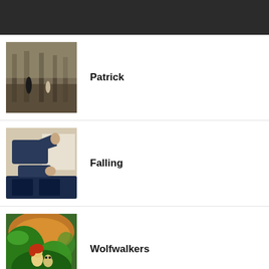[Figure (other): Dark header bar at top of page, dark gray/black background]
Patrick
Falling
Wolfwalkers